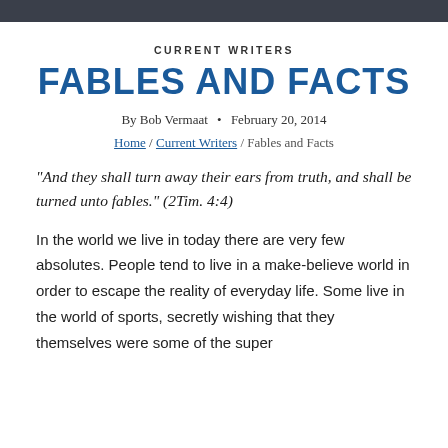CURRENT WRITERS
FABLES AND FACTS
By Bob Vermaat  •  February 20, 2014
Home / Current Writers / Fables and Facts
“And they shall turn away their ears from truth, and shall be turned unto fables.” (2Tim. 4:4)
In the world we live in today there are very few absolutes. People tend to live in a make-believe world in order to escape the reality of everyday life. Some live in the world of sports, secretly wishing that they themselves were some of the super